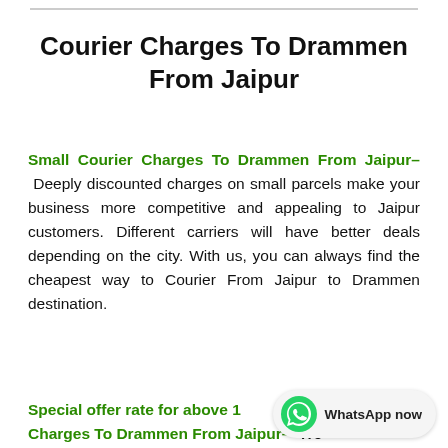Courier Charges To Drammen From Jaipur
Small Courier Charges To Drammen From Jaipur– Deeply discounted charges on small parcels make your business more competitive and appealing to Jaipur customers. Different carriers will have better deals depending on the city. With us, you can always find the cheapest way to Courier From Jaipur to Drammen destination.
Special offer rate for above 1 Charges To Drammen From Jaipur– We